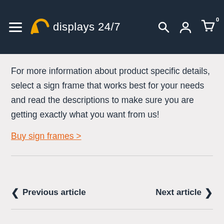displays 24/7
For more information about product specific details, select a sign frame that works best for your needs and read the descriptions to make sure you are getting exactly what you want from us!
Buy sign frames >
< Previous article    Next article >